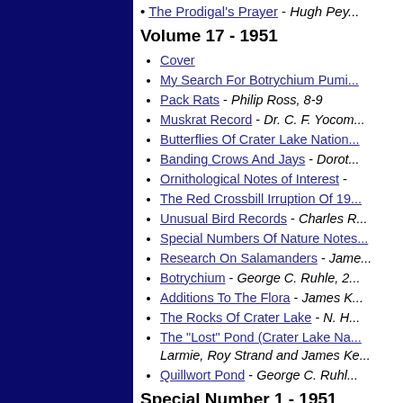The Prodigal's Prayer - Hugh Pey...
Volume 17 - 1951
Cover
My Search For Botrychium Pumi...
Pack Rats - Philip Ross, 8-9
Muskrat Record - Dr. C. F. Yocom...
Butterflies Of Crater Lake Nation...
Banding Crows And Jays - Dorot...
Ornithological Notes of Interest -
The Red Crossbill Irruption Of 19...
Unusual Bird Records - Charles R...
Special Numbers Of Nature Notes...
Research On Salamanders - Jame...
Botrychium - George C. Ruhle, 2...
Additions To The Flora - James K...
The Rocks Of Crater Lake - N. H....
The "Lost" Pond (Crater Lake Na... Larmie, Roy Strand and James Ke...
Quillwort Pond - George C. Ruhl...
Special Number 1 - 1951
Cover
Preface - Dr. C. G. Ruhle, A...